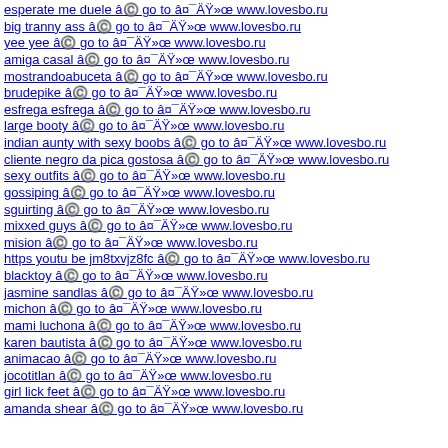esperate me duele â© go to â¤ï¸ www.lovesbo.ru
big tranny ass â© go to â¤ï¸ www.lovesbo.ru
yee yee â© go to â¤ï¸ www.lovesbo.ru
amiga casal â© go to â¤ï¸ www.lovesbo.ru
mostrandoabuceta â© go to â¤ï¸ www.lovesbo.ru
brudepike â© go to â¤ï¸ www.lovesbo.ru
esfrega esfrega â© go to â¤ï¸ www.lovesbo.ru
large booty â© go to â¤ï¸ www.lovesbo.ru
indian aunty with sexy boobs â© go to â¤ï¸ www.lovesbo.ru
cliente negro da pica gostosa â© go to â¤ï¸ www.lovesbo.ru
sexy outfits â© go to â¤ï¸ www.lovesbo.ru
gossiping â© go to â¤ï¸ www.lovesbo.ru
sguirting â© go to â¤ï¸ www.lovesbo.ru
mixxed guys â© go to â¤ï¸ www.lovesbo.ru
mision â© go to â¤ï¸ www.lovesbo.ru
https youtu be jm8txvjz8fc â© go to â¤ï¸ www.lovesbo.ru
blacktoy â© go to â¤ï¸ www.lovesbo.ru
jasmine sandlas â© go to â¤ï¸ www.lovesbo.ru
michon â© go to â¤ï¸ www.lovesbo.ru
mami luchona â© go to â¤ï¸ www.lovesbo.ru
karen bautista â© go to â¤ï¸ www.lovesbo.ru
animacao â© go to â¤ï¸ www.lovesbo.ru
jocotitlan â© go to â¤ï¸ www.lovesbo.ru
girl lick feet â© go to â¤ï¸ www.lovesbo.ru
amanda shear â© go to â¤ï¸ www.lovesbo.ru